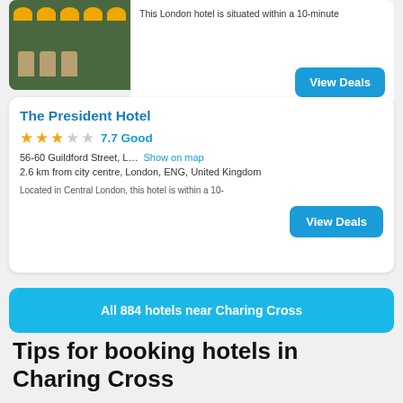[Figure (photo): Hotel interior photo showing bar stools with yellow cushions and dark green marble counter, with wicker/rattan chairs]
This London hotel is situated within a 10-minute
View Deals
The President Hotel
★★★☆☆ 7.7 Good
56-60 Guildford Street, L…   Show on map
2.6 km from city centre, London, ENG, United Kingdom
Located in Central London, this hotel is within a 10-
View Deals
All 884 hotels near Charing Cross
Tips for booking hotels in Charing Cross